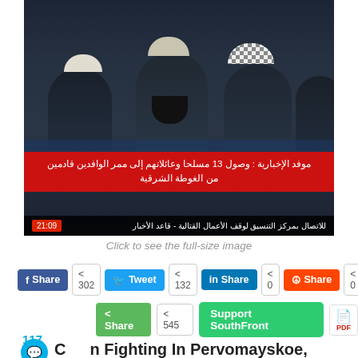[Figure (photo): News broadcast screenshot showing several men seated on a bus, with a red Arabic lower-third banner and a dark ticker bar at the bottom. The red banner contains Arabic text about 13 armed fighters and their families arriving via a corridor from Eastern Ghouta.]
Click to see the full-size image
Share 302  Tweet 132  Share 0  Share 0
Share 545  Support SouthFront  PDF
117
C n Fighting In Pervomayskoe, Peski Region Troubled IAEA Mission To The Zaporozhie NPP